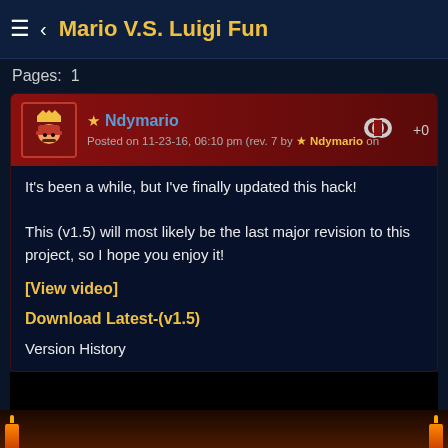Mario V.S. Luigi Fun
Pages: 1
Ndymario
Posted on 11-23-16, 06:10 pm (rev. 7 by Ndymario on
It's been a while, but I've finally updated this hack!

This (v1.5) will most likely be the last major revision to this project, so I hope you enjoy it!
[View video]
Download Latest-(v1.5)
Version History
[Figure (screenshot): Embedded video player showing black screen]